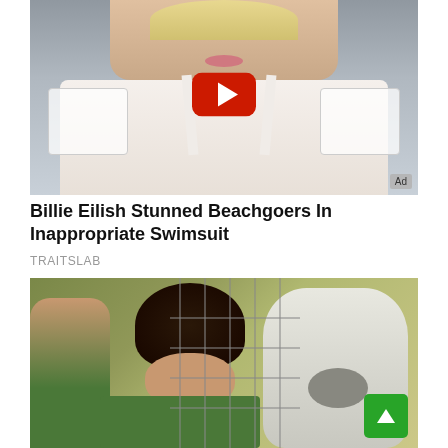[Figure (photo): Thumbnail photo of a blonde woman in a white low-cut dress/swimsuit with lace shoulders, with a YouTube play button overlay and an 'Ad' badge in the bottom right corner.]
Billie Eilish Stunned Beachgoers In Inappropriate Swimsuit
TRAITSLAB
[Figure (photo): Thumbnail photo of a woman with dark hair in a bun, wearing a green shirt, kissing a white animal (likely a donkey or horse) through a wire fence, with another person visible in the background.]